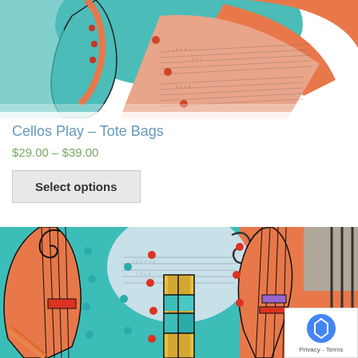[Figure (photo): Top portion of a colorful artistic tote bag featuring stylized cello/violin illustrations in teal, orange, and pink tones with musical score patterns]
Cellos Play – Tote Bags
$29.00 – $39.00
Select options
[Figure (photo): Close-up of a colorful textile/blanket product featuring abstract stylized string instrument illustrations in teal, orange, yellow, red colors with decorative dot patterns]